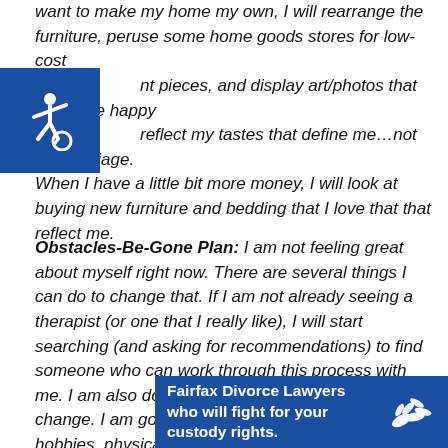want to make my home my own, I will rearrange the furniture, peruse some home goods stores for low-cost nt pieces, and display art/photos that make me happy reflect my tastes that define me...not my marriage. When I have a little bit more money, I will look at buying new furniture and bedding that I love that that reflect me.
[Figure (other): Blue accessibility icon (wheelchair symbol) in a blue square background]
Obstacles-Be-Gone Plan: I am not feeling great about myself right now. There are several things I can do to change that. If I am not already seeing a therapist (or one that I really like), I will start searching (and asking for recommendations) to find someone who can work through this process with me. I am also doing to do things for myself for a change. I am going to list things that I like to do—hobbies, physical activities, and will put them on a calendar so I remain accountable and committed do doing
[Figure (infographic): Blue advertisement banner: 'Fairfax Divorce Lawyers who will fight for your custody rights.' with a white hand/dove graphic on the right.]